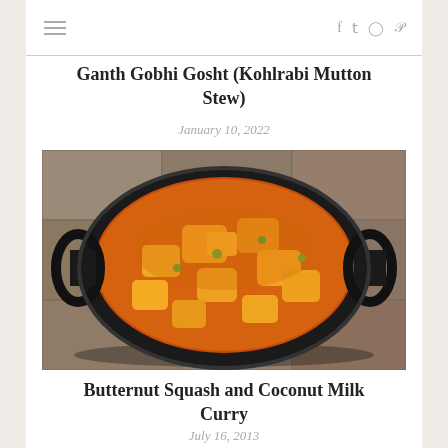≡  f  t  ○  p
Ganth Gobhi Gosht (Kohlrabi Mutton Stew)
January 10, 2022
[Figure (photo): A dark iron karahi pan with two handles sitting on stone pavers, filled with an orange-colored curry stew containing chunks of kohlrabi and other vegetables.]
Butternut Squash and Coconut Milk Curry
July 16, 2013